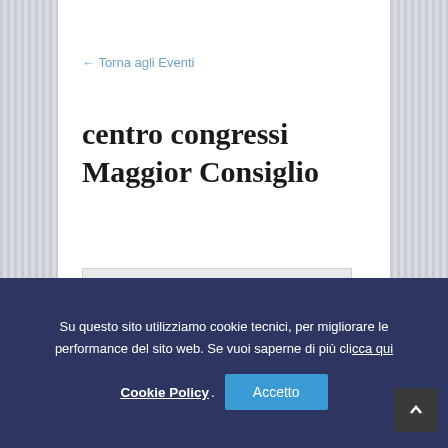← Torna agli Eventi
centro congressi Maggior Consiglio
[Figure (photo): Gray image placeholder box]
Su questo sito utilizziamo cookie tecnici, per migliorare le performance del sito web. Se vuoi saperne di più clicca qui Cookie Policy. Accetto